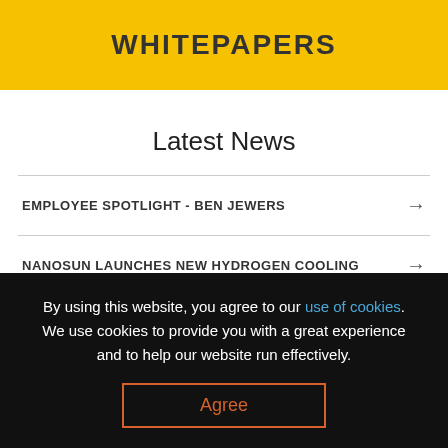WHITEPAPERS
Latest News
EMPLOYEE SPOTLIGHT - BEN JEWERS →
NANOSUN LAUNCHES NEW HYDROGEN COOLING →
By using this website, you agree to our use of cookies. We use cookies to provide you with a great experience and to help our website run effectively.
Agree